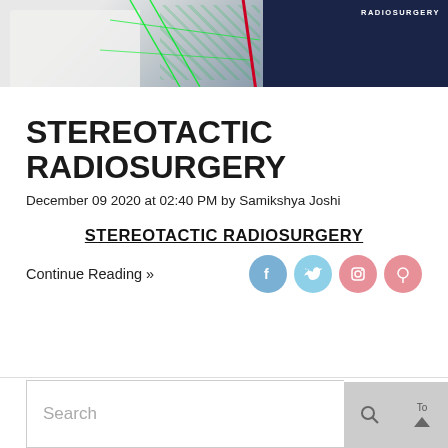[Figure (photo): Medical professional in white coat next to a patient in a mesh mask/frame device for stereotactic radiosurgery, with green targeting lasers visible. Right side shows dark blue background with RADIOSURGERY text.]
STEREOTACTIC RADIOSURGERY
December 09 2020 at 02:40 PM by Samikshya Joshi
STEREOTACTIC RADIOSURGERY
Continue Reading »
Search